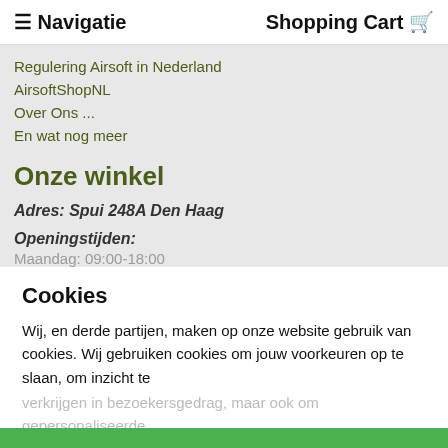≡ Navigatie   Shopping Cart 🛒
Regulering Airsoft in Nederland
AirsoftShopNL
Over Ons ...
En wat nog meer
Onze winkel
Adres: Spui 248A Den Haag
Openingstijden:
Cookies
Wij, en derde partijen, maken op onze website gebruik van cookies. Wij gebruiken cookies om jouw voorkeuren op te slaan, om inzicht te verkrijgen in bezoekersgedrag, maar ook om gepersonaliseerde